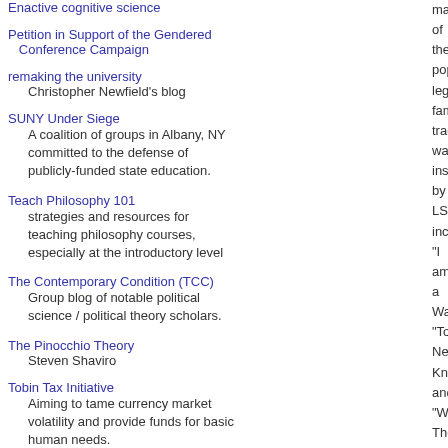Enactive cognitive science
Petition in Support of the Gendered Conference Campaign
remaking the university
Christopher Newfield's blog
SUNY Under Siege
A coalition of groups in Albany, NY committed to the defense of publicly-funded state education.
Teach Philosophy 101
strategies and resources for teaching philosophy courses, especially at the introductory level
The Contemporary Condition (TCC)
Group blog of notable political science / political theory scholars.
The Pinocchio Theory
Steven Shaviro
Tobin Tax Initiative
Aiming to tame currency market volatility and provide funds for basic human needs.
What we're doing about what it's like (to be a woman in philosophy)
Sharing success stories and
mar of the pop leg fam trac was insp by LSI incl "I am a Wa "To Ne Kn and "W The Rea
affair  Samir Chopra  Science  securitization  Seneca  Silliness not worth a FFS  Snark  social media  Speculative Realism  Spinoza  Splendid philosopher of the week  Sports  Synthese affair  Teaching Philosophy  The grotesque nature of the NCAA  Torture  War  Women in philosophy
SEARCH